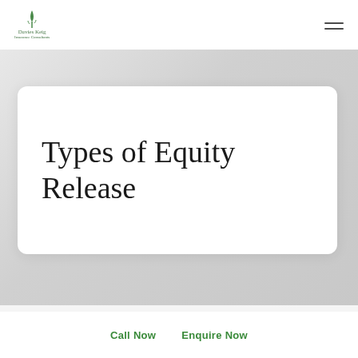[Figure (logo): Davies Keig Insurance Consultants logo with green leaf/figure icon]
[Figure (illustration): Hamburger menu icon with two horizontal lines]
[Figure (photo): Grey background hero image area]
Types of Equity Release
Call Now
Enquire Now